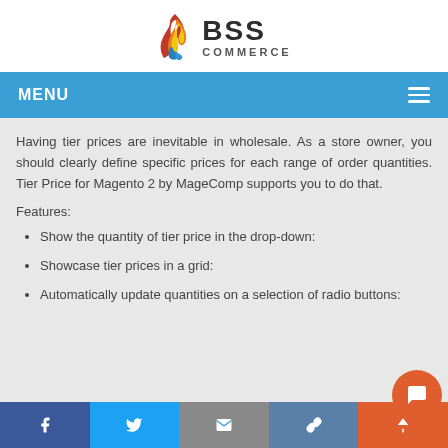[Figure (logo): BSS Commerce logo with flame graphic and bold BSS text with COMMERCE subtitle]
MENU
Having tier prices are inevitable in wholesale. As a store owner, you should clearly define specific prices for each range of order quantities. Tier Price for Magento 2 by MageComp supports you to do that.
Features:
Show the quantity of tier price in the drop-down:
Showcase tier prices in a grid:
Automatically update quantities on a selection of radio buttons:
Facebook | Twitter | Email | Link | Chat